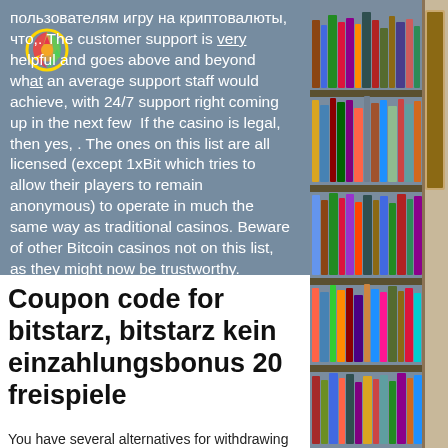пользователям игру на криптовалюты, что,. The customer support is very helpful and goes above and beyond what an average support staff would achieve, with 24/7 support right coming up in the next few If the casino is legal, then yes, . The ones on this list are all licensed (except 1xBit which tries to allow their players to remain anonymous) to operate in much the same way as traditional casinos. Beware of other Bitcoin casinos not on this list, as they might now be trustworthy.
Coupon code for bitstarz, bitstarz kein einzahlungsbonus 20 freispiele
You have several alternatives for withdrawing funds from Crypto Reels. Your
[Figure (photo): Photo of a library with shelves full of books, visible on the right side of the page.]